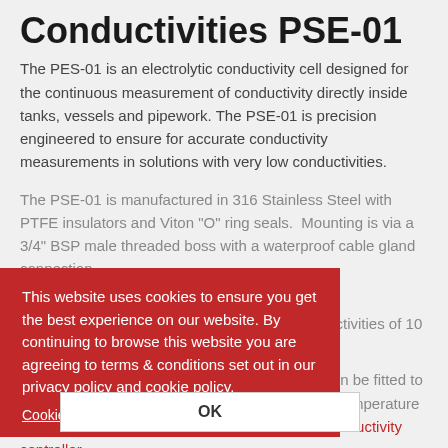Conductivities PSE-01
The PES-01 is an electrolytic conductivity cell designed for the continuous measurement of conductivity directly inside tanks, vessels and pipework. The PSE-01 is precision engineered to ensure for accurate conductivity measurements in solutions with very low conductivities.
The PSE-01 is manufactured in 316 Stainless Steel with PTFE insulators and Viton "O" ring seals. Mounting is via a 3/4" BSP male threaded boss with a waterproof cable gland connection.
This website uses cookies to ensure you get the best experience on our website. By continuing to browse this website you are agreeing to terms & conditions set out in our privacy policy and cookie policy.
Cookie policy   Privacy policy
OK
An integral temperature measurement device can be fitted to the PSE-01 so that it can be used for automatic temperature compensation when paired with a compatible conductivity controller.